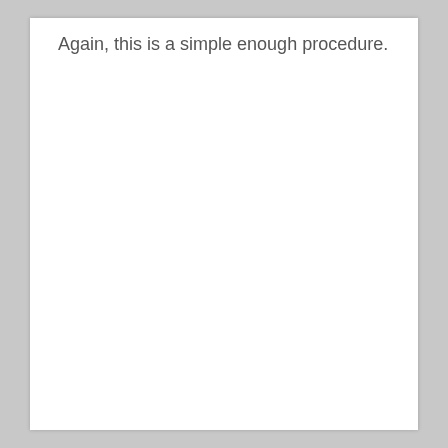Again, this is a simple enough procedure.